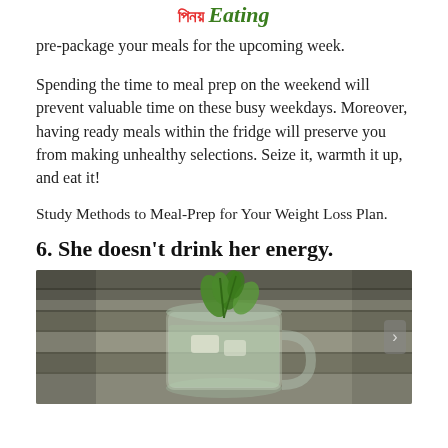Eating
pre-package your meals for the upcoming week.
Spending the time to meal prep on the weekend will prevent valuable time on these busy weekdays. Moreover, having ready meals within the fridge will preserve you from making unhealthy selections. Seize it, warmth it up, and eat it!
Study Methods to Meal-Prep for Your Weight Loss Plan.
6. She doesn't drink her energy.
[Figure (photo): A glass mug filled with water or tea, garnished with fresh green mint leaves, sitting on a rustic wooden surface with grey tones.]